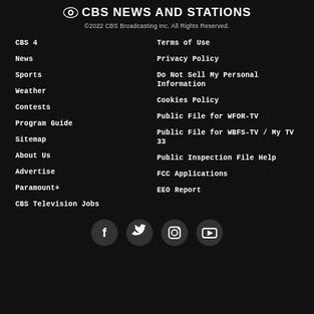[Figure (logo): CBS News and Stations logo with CBS eye icon]
©2022 CBS Broadcasting Inc. All Rights Reserved.
CBS 4
News
Sports
Weather
Contests
Program Guide
Sitemap
About Us
Advertise
Paramount+
CBS Television Jobs
Terms of Use
Privacy Policy
Do Not Sell My Personal Information
Cookies Policy
Public File for WFOR-TV
Public File for WBFS-TV / My TV 33
Public Inspection File Help
FCC Applications
EEO Report
[Figure (other): Social media icons: Facebook, Twitter, Instagram, YouTube]